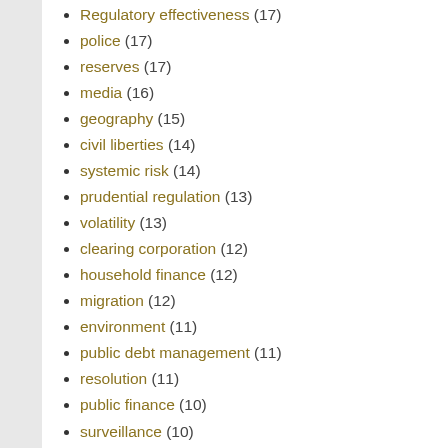Regulatory effectiveness (17)
police (17)
reserves (17)
media (16)
geography (15)
civil liberties (14)
systemic risk (14)
prudential regulation (13)
volatility (13)
clearing corporation (12)
household finance (12)
migration (12)
environment (11)
public debt management (11)
resolution (11)
public finance (10)
surveillance (10)